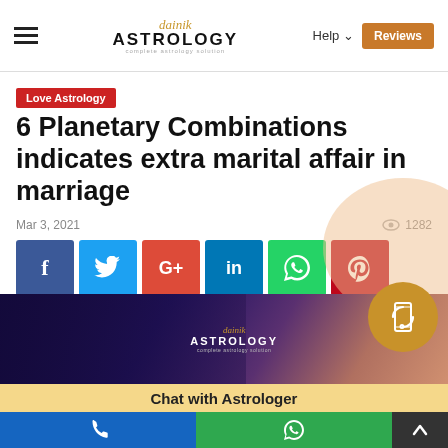Dainik Astrology — Help | Reviews
Love Astrology
6 Planetary Combinations indicates extra marital affair in marriage
Mar 3, 2021  ● 1282
[Figure (screenshot): Row of social share buttons: Facebook, Twitter, Google+, LinkedIn, WhatsApp, Pinterest, Tumblr, Print, Bookmark (star)]
[Figure (screenshot): Article banner image showing a couple with Dainik Astrology logo overlay, with decorative peach circle and phone icon floating button]
Chat with Astrologer
Bottom navigation bar with phone, WhatsApp, and scroll-up buttons